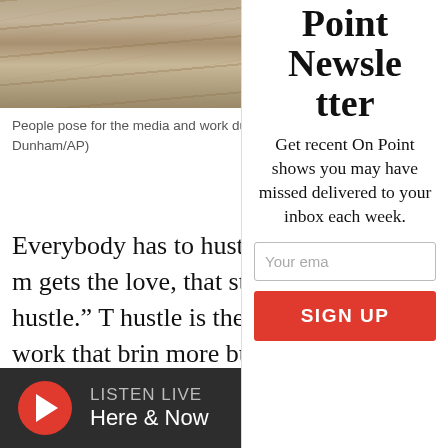[Figure (photo): Photo of wooden floor/desk from above, people working at TREExOFFICE pop-up office in Hoxton Square, London]
People pose for the media and work during launch TREExOFFICE, a prototype pop-up t Hoxton Square, London. (Matt Dunham/AP)
Everybody has to hustle in this econo many Millennials, the hustle that m gets the love, that stokes the dreams, last bills paid - is the “side hustle.” T hustle is the extra job, the after-hour the freelance gig after work that brin more bucks and – if you’re lucky – ho promise of a bigger, better, more exci
Point Newsletter
Get recent On Point shows you may have missed delivered to your inbox each week.
Your ema
SIGN UP
LISTEN LIVE Here & Now